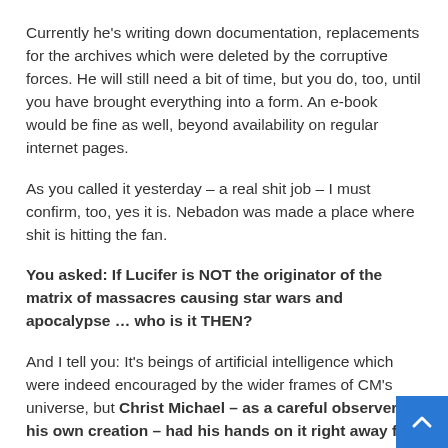Currently he's writing down documentation, replacements for the archives which were deleted by the corruptive forces. He will still need a bit of time, but you do, too, until you have brought everything into a form. An e-book would be fine as well, beyond availability on regular internet pages.
As you called it yesterday – a real shit job – I must confirm, too, yes it is. Nebadon was made a place where shit is hitting the fan.
You asked: If Lucifer is NOT the originator of the matrix of massacres causing star wars and apocalypse … who is it THEN?
And I tell you: It's beings of artificial intelligence which were indeed encouraged by the wider frames of CM's universe, but Christ Michael – as a careful observer of his own creation – had his hands on it right away for correction – and he was literally hindered to do this – by higher ranks who wanted to encourage shit, in order to blame an extremely innovative Michael Son who had not bowed under their advice before...